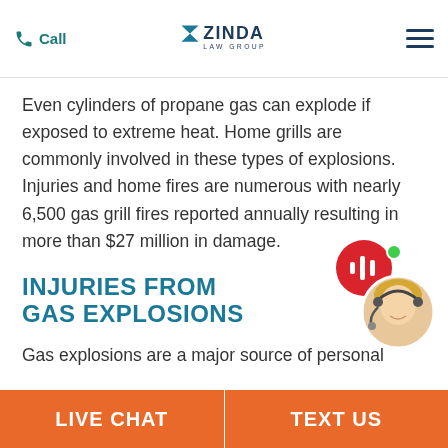Call | ZINDA LAW GROUP
Even cylinders of propane gas can explode if exposed to extreme heat. Home grills are commonly involved in these types of explosions. Injuries and home fires are numerous with nearly 6,500 gas grill fires reported annually resulting in more than $27 million in damage.
INJURIES FROM GAS EXPLOSIONS
[Figure (photo): Customer service representative avatar with headset and chat bubble icon with green online indicator]
Gas explosions are a major source of personal
LIVE CHAT | TEXT US